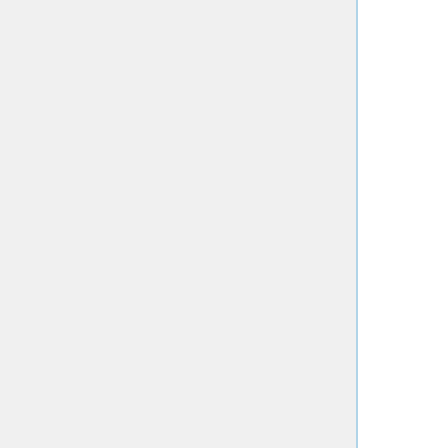Out a Subject:
Cardiac pacemaker / Cardiac or neural defibrillator
Metal fragments in the eyes
Metal plates, pins or bolts in head
Any magnetic